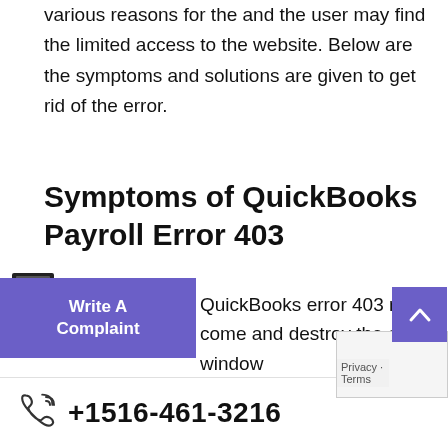various reasons for the and the user may find the limited access to the website. Below are the symptoms and solutions are given to get rid of the error.
Symptoms of QuickBooks Payroll Error 403
[Figure (other): Write A Complaint button (purple/violet background with white text) overlapping with a document/printer icon widget]
QuickBooks error 403 may come and destroy the active window
error message “QuickBooks error 403” showed
+1516-461-3216